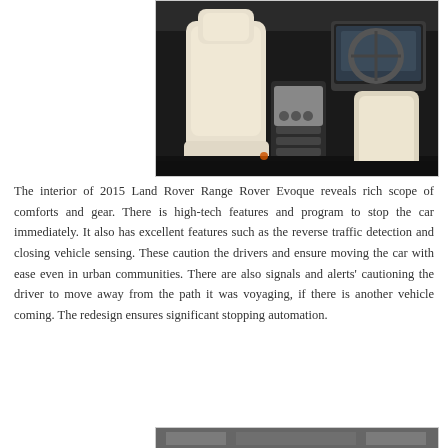[Figure (photo): Interior of 2015 Land Rover Range Rover Evoque showing cream/beige leather seats, center console with controls, steering wheel, and infotainment screen]
The interior of 2015 Land Rover Range Rover Evoque reveals rich scope of comforts and gear. There is high-tech features and program to stop the car immediately. It also has excellent features such as the reverse traffic detection and closing vehicle sensing. These caution the drivers and ensure moving the car with ease even in urban communities. There are also signals and alerts' cautioning the driver to move away from the path it was voyaging, if there is another vehicle coming. The redesign ensures significant stopping automation.
[Figure (photo): Partial view of another vehicle interior or exterior, partially visible at bottom of page]